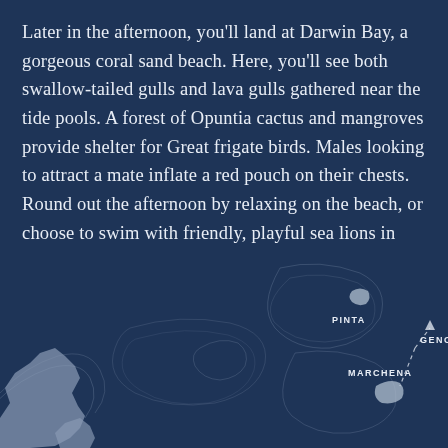Later in the afternoon, you'll land at Darwin Bay, a gorgeous coral sand beach. Here, you'll see both swallow-tailed gulls and lava gulls gathered near the tide pools. A forest of Opuntia cactus and mangroves provide shelter for Great frigate birds. Males looking to attract a mate inflate a red pouch on their chests. Round out the afternoon by relaxing on the beach, or choose to swim with friendly, playful sea lions in these warmer northern waters. When you return to the yacht, you'll have a short briefing followed by a delicious dinner. If the night is clear, take a stroll on the deck and enjoy the sky full of bright stars
[Figure (map): Partial map of the Galapagos Islands showing islands labeled PINTA, MARCHENA, and GENOVESA with dotted route lines connecting them. Island outlines are shown in light gray/white against the dark navy background. A larger island mass is visible at the bottom left.]